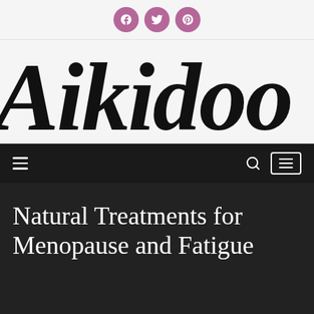[Figure (other): Social media share icons: Facebook, Twitter, Pinterest — pink/mauve circular buttons]
[Figure (logo): Aikidoo website logo in large cursive/script black font, partially cropped on right]
Navigation bar with hamburger menu, search icon, and menu button
Natural Treatments for Menopause and Fatigue